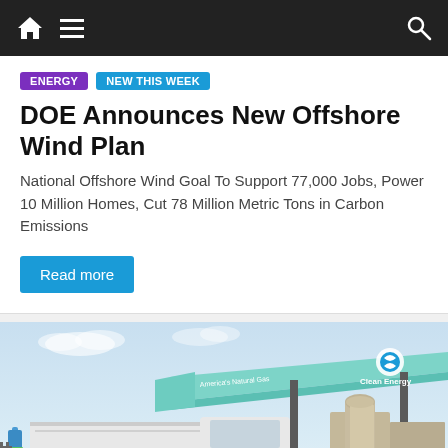Navigation bar with home, menu, and search icons
Energy | New This Week
DOE Announces New Offshore Wind Plan
National Offshore Wind Goal To Support 77,000 Jobs, Power 10 Million Homes, Cut 78 Million Metric Tons in Carbon Emissions
Read more
[Figure (photo): A white semi-truck at a Clean Energy fueling station with a teal canopy under a blue sky]